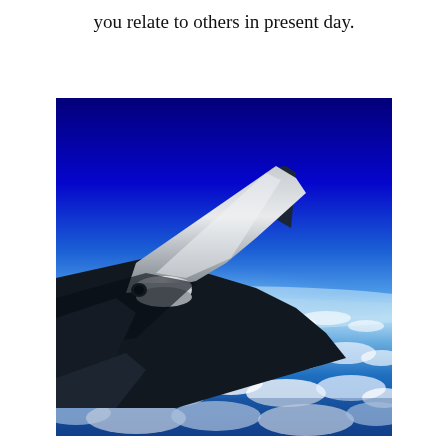you relate to others in present day.
[Figure (photo): View from an airplane window showing the aircraft wing against a deep blue sky, with clouds and Earth's surface visible below at high altitude.]